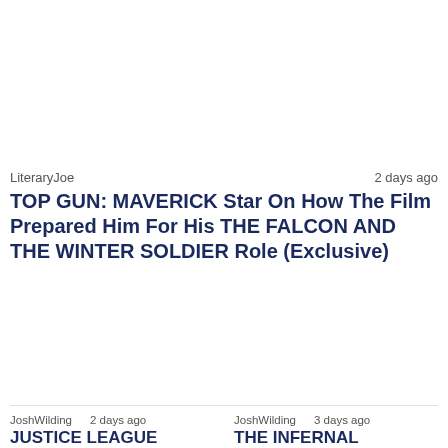LiteraryJoe    2 days ago
TOP GUN: MAVERICK Star On How The Film Prepared Him For His THE FALCON AND THE WINTER SOLDIER Role (Exclusive)
JoshWilding    2 days ago    JoshWilding    3 days ago
JUSTICE LEAGUE    THE INFERNAL